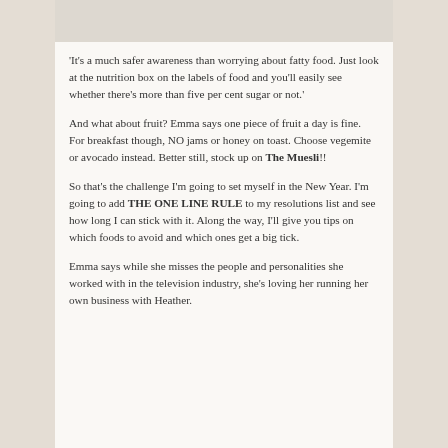'It's a much safer awareness than worrying about fatty food. Just look at the nutrition box on the labels of food and you'll easily see whether there's more than five per cent sugar or not.'
And what about fruit? Emma says one piece of fruit a day is fine. For breakfast though, NO jams or honey on toast. Choose vegemite or avocado instead. Better still, stock up on The Muesli!!
So that's the challenge I'm going to set myself in the New Year. I'm going to add THE ONE LINE RULE to my resolutions list and see how long I can stick with it. Along the way, I'll give you tips on which foods to avoid and which ones get a big tick.
Emma says while she misses the people and personalities she worked with in the television industry, she's loving her running her own business with Heather.